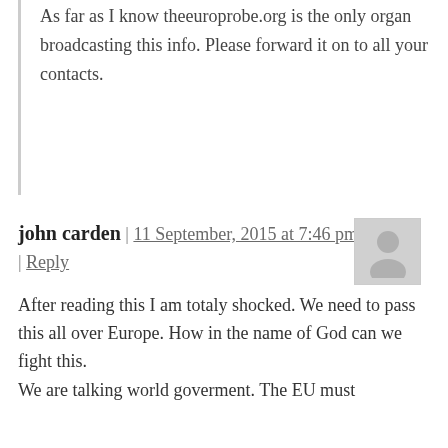As far as I know theeuroprobe.org is the only organ broadcasting this info. Please forward it on to all your contacts.
john carden | 11 September, 2015 at 7:46 pm | Reply
After reading this I am totaly shocked. We need to pass this all over Europe. How in the name of God can we fight this.
We are talking world goverment. The EU must